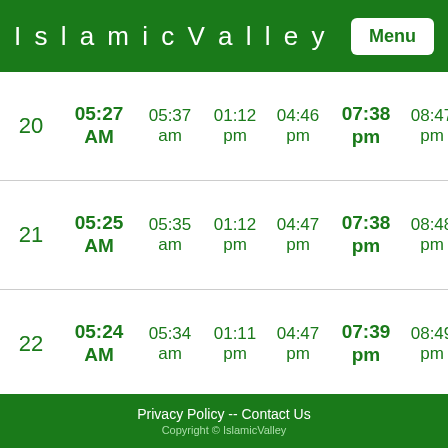IslamicValley
| Day | Col1 | Col2 | Col3 | Col4 | Col5 | Col6 |
| --- | --- | --- | --- | --- | --- | --- |
| 20 | 05:27 AM | 05:37 am | 01:12 pm | 04:46 pm | 07:38 pm | 08:47 pm |
| 21 | 05:25 AM | 05:35 am | 01:12 pm | 04:47 pm | 07:38 pm | 08:48 pm |
| 22 | 05:24 AM | 05:34 am | 01:11 pm | 04:47 pm | 07:39 pm | 08:49 pm |
| 23 | 05:23 AM | 05:33 am | 01:11 pm | 04:48 pm | 07:40 pm | 08:50 pm |
| 24 | 05:21 AM | 05:31 am | 01:11 pm | 04:48 pm | 07:40 pm | 08:51 pm |
| 25 | 05:20 AM | 05:30 am | 01:11 pm | 04:49 pm | 07:41 pm | 08:52 pm |
Privacy Policy -- Contact Us
Copyright © IslamicValley